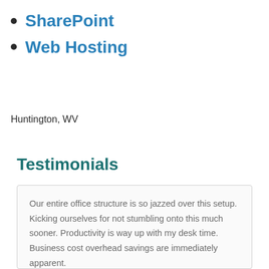SharePoint
Web Hosting
Huntington, WV
Testimonials
Our entire office structure is so jazzed over this setup. Kicking ourselves for not stumbling onto this much sooner. Productivity is way up with my desk time. Business cost overhead savings are immediately apparent.